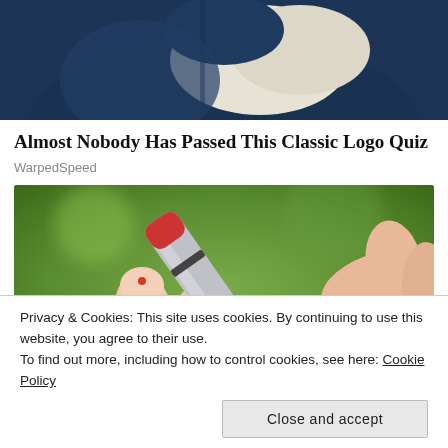[Figure (photo): Top portion of a person wearing a dark navy athletic jacket with a cream/beige accessory or garment, cropped at the chest/shoulder area]
Almost Nobody Has Passed This Classic Logo Quiz
WarpedSpeed
[Figure (photo): Close-up photo of hands using a lancet/blood glucose device to prick a fingertip, with a green blurred background]
Privacy & Cookies: This site uses cookies. By continuing to use this website, you agree to their use.
To find out more, including how to control cookies, see here: Cookie Policy
Close and accept
Share this: